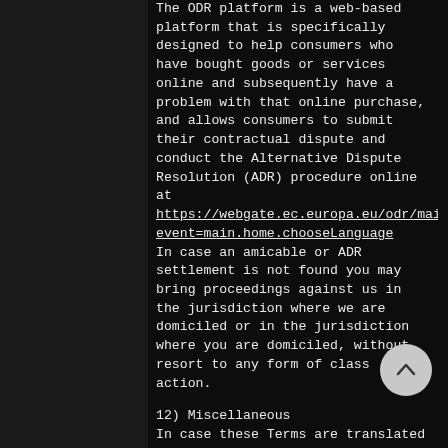The ODR platform is a web-based platform that is specifically designed to help consumers who have bought goods or services online and subsequently have a problem with that online purchase, and allows consumers to submit their contractual dispute and conduct the Alternative Dispute Resolution (ADR) procedure online at https://webgate.ec.europa.eu/odr/main/index.cfm?event=main.home.chooseLanguage In case an amicable or ADR settlement is not found you may bring proceedings against us in the jurisdiction where we are domiciled or in the jurisdiction where you are domiciled, without resort to any form of class action.
12) Miscellaneous
In case these Terms are translated into some other language than English and there are contradictions between the English version and the translation, then the English version shall prevail over the translation. If any part of these Terms is held invalid or unenforceable, the remaining portions will remain in full force and effect. Any failure on the part of us to enforce any provision of these